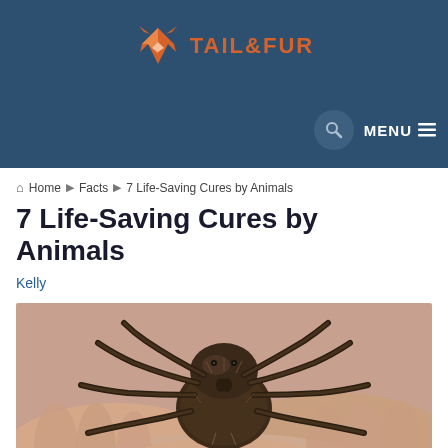TAIL & FUR
Home ▶ Facts ▶ 7 Life-Saving Cures by Animals
7 Life-Saving Cures by Animals
Kelly
[Figure (photo): Close-up photograph of a large tarantula spider held in a person's hands, showing detailed brown and black hairy legs and body against a blurred background.]